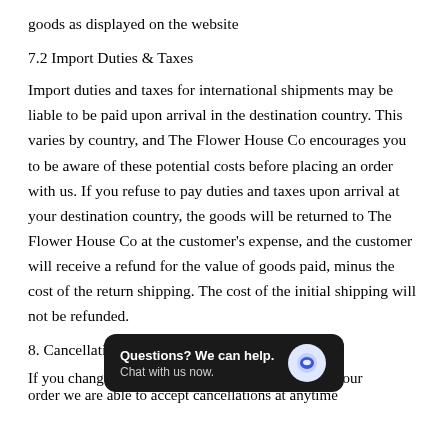goods as displayed on the website
7.2 Import Duties & Taxes
Import duties and taxes for international shipments may be liable to be paid upon arrival in the destination country. This varies by country, and The Flower House Co encourages you to be aware of these potential costs before placing an order with us. If you refuse to pay duties and taxes upon arrival at your destination country, the goods will be returned to The Flower House Co at the customer's expense, and the customer will receive a refund for the value of goods paid, minus the cost of the return shipping. The cost of the initial shipping will not be refunded.
8. Cancellations
If you change your mind before you have received your order we are able to accept cancellations at anytime